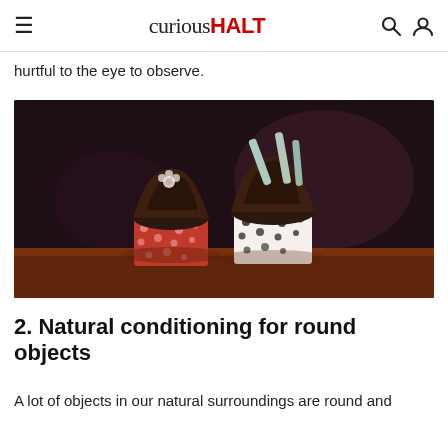curiousHALT
hurtful to the eye to observe.
[Figure (photo): Two chocolate cupcakes with dark chocolate frosting on a dark background. The left cupcake is in a red polka-dot wrapper and the right in a white/black polka-dot wrapper. The right cupcake has light-colored striped straw decorations on top.]
2. Natural conditioning for round objects
A lot of objects in our natural surroundings are round and